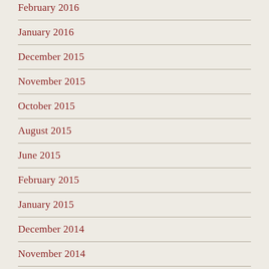February 2016
January 2016
December 2015
November 2015
October 2015
August 2015
June 2015
February 2015
January 2015
December 2014
November 2014
October 2014
September 2014
July 2014
June 2014